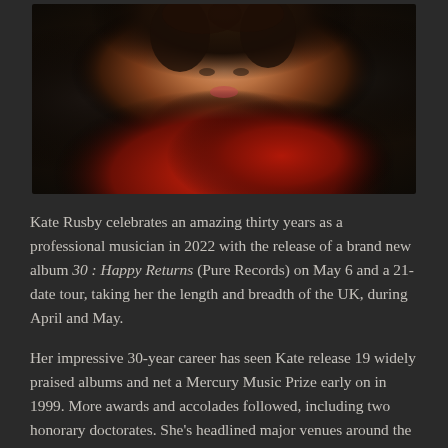[Figure (photo): Portrait photo of Kate Rusby, a woman with curly hair wearing a red dress, photographed against a dark background with dramatic lighting]
Kate Rusby celebrates an amazing thirty years as a professional musician in 2022 with the release of a brand new album 30 : Happy Returns (Pure Records) on May 6 and a 21-date tour, taking her the length and breadth of the UK, during April and May.
Her impressive 30-year career has seen Kate release 19 widely praised albums and net a Mercury Music Prize early on in 1999. More awards and accolades followed, including two honorary doctorates. She's headlined major venues around the UK, from the Royal Albert Hall to Cambridge Folk Festival, and